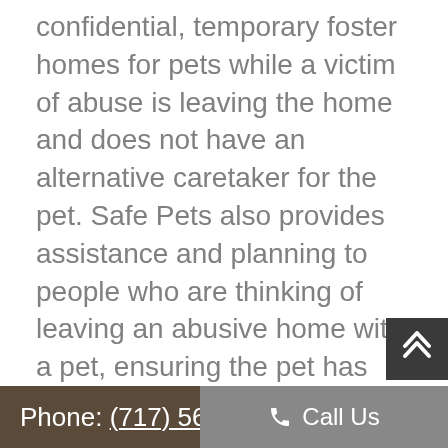confidential, temporary foster homes for pets while a victim of abuse is leaving the home and does not have an alternative caretaker for the pet. Safe Pets also provides assistance and planning to people who are thinking of leaving an abusive home with a pet, ensuring the pet has everything it needs, and coordinating the most suitable temporary home. Safe Pets is looking for volunteer foster homes to provide temporary safe havens until the pet is able to be returned to its family. Please contact Deb Hewes at 717-299-9677 for information regarding fostering or donations. This number is also a direct number to the Domestic Violence Services if ever needed for yourself or a friend.
Phone: (717) 56... | Call Us